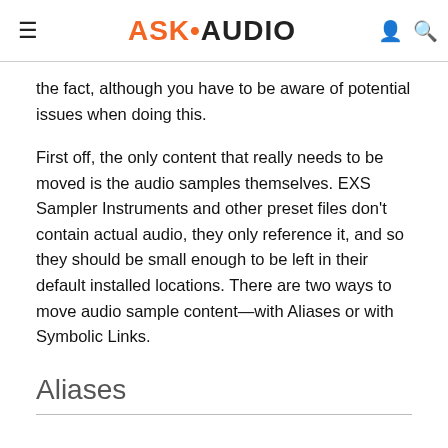ASK•AUDIO
the fact, although you have to be aware of potential issues when doing this.
First off, the only content that really needs to be moved is the audio samples themselves. EXS Sampler Instruments and other preset files don't contain actual audio, they only reference it, and so they should be small enough to be left in their default installed locations. There are two ways to move audio sample content—with Aliases or with Symbolic Links.
Aliases